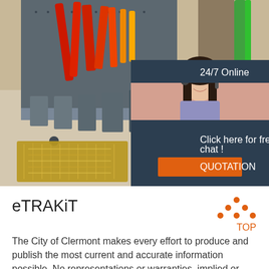[Figure (photo): Photo of industrial tools and equipment: pegboard with red tools (pliers, wrenches) hanging on a dark gray board, heavy chain links in gold/brass color, and gray metal clamping/bracket parts arranged on a concrete floor. Inset: a customer service representative woman wearing a headset, overlaid on a dark blue panel showing '24/7 Online', 'Click here for free chat!' and an orange QUOTATION button.]
eTRAKiT
[Figure (logo): TOP logo with orange triangle/arrow dots above the word TOP in orange bold text]
The City of Clermont makes every effort to produce and publish the most current and accurate information possible. No representations or warranties, implied or